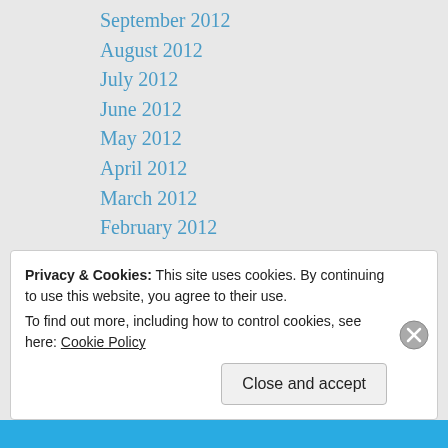September 2012
August 2012
July 2012
June 2012
May 2012
April 2012
March 2012
February 2012
January 2012
December 2011
November 2011
October 2011
September 2011
August 2011
Privacy & Cookies: This site uses cookies. By continuing to use this website, you agree to their use.
To find out more, including how to control cookies, see here: Cookie Policy
Close and accept